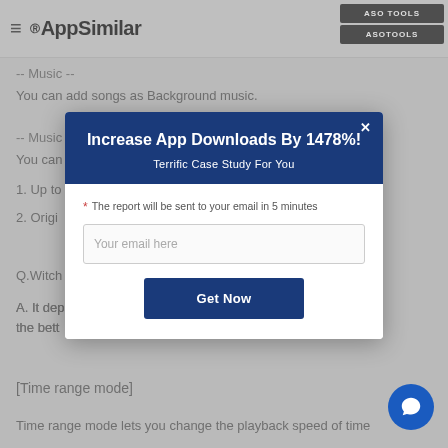AppSimilar
-- Music --
You can add songs as Background music.
-- Music --
You can
1. Up to
2. Origin
Q.Witch
A. It dep find the bett
[Figure (screenshot): Modal popup with title 'Increase App Downloads By 1478%!', subtitle 'Terrific Case Study For You', email input field 'Your email here', and 'Get Now' button on dark blue background header]
[Time range mode]
Time range mode lets you change the playback speed of time